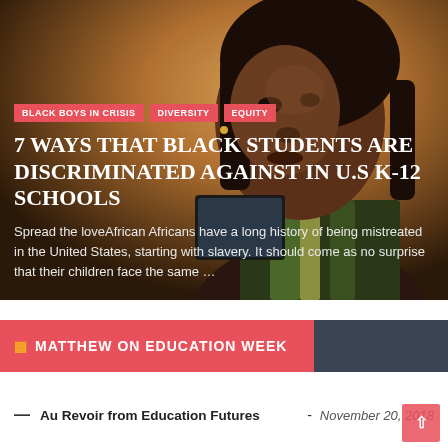[Figure (photo): Photo of a young Black woman looking at a tablet/phone device, warm yellow-brown background]
BLACK BOYS IN CRISIS
DIVERSITY
EQUITY
7 WAYS THAT BLACK STUDENTS ARE DISCRIMINATED AGAINST IN U.S K-12 SCHOOLS
Spread the loveAfrican Africans have a long history of being mistreated in the United States, starting with slavery. It should come as no surprise that their children face the same …
MATTHEW ON EDUCATION WEEK
— Au Revoir from Education Futures - November 20, 2018